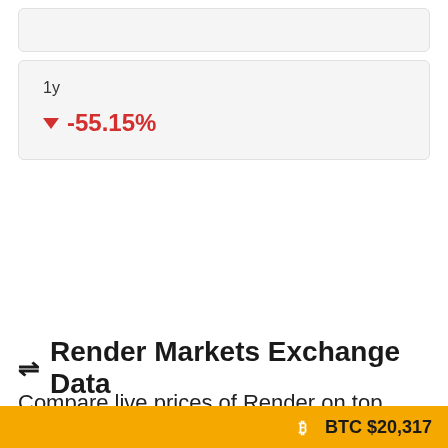[Figure (other): Top card placeholder (empty/cropped card)]
1y
-55.15%
⇌ Render Markets Exchange Data
Compare live prices of Render on top
BTC $20,317